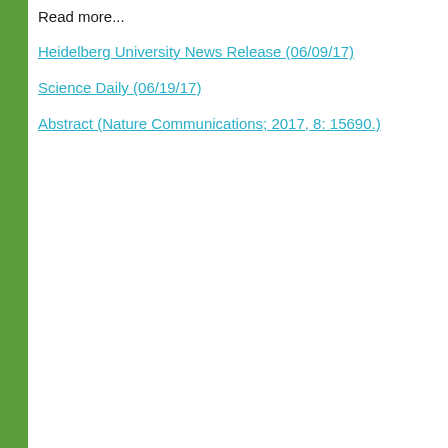Read more...
Heidelberg University News Release (06/09/17)
Science Daily (06/19/17)
Abstract (Nature Communications; 2017, 8: 15690.)